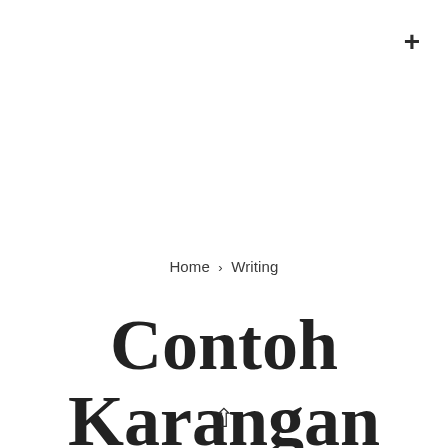+
Home › Writing
Contoh Karangan Past